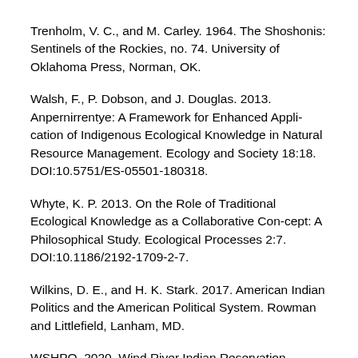Trenholm, V. C., and M. Carley. 1964. The Shoshonis: Sentinels of the Rockies, no. 74. University of Oklahoma Press, Norman, OK.
Walsh, F., P. Dobson, and J. Douglas. 2013. Anpernirrentye: A Framework for Enhanced Appli-cation of Indigenous Ecological Knowledge in Natural Resource Management. Ecology and Society 18:18. DOI:10.5751/ES-05501-180318.
Whyte, K. P. 2013. On the Role of Traditional Ecological Knowledge as a Collaborative Con-cept: A Philosophical Study. Ecological Processes 2:7. DOI:10.1186/2192-1709-2-7.
Wilkins, D. E., and H. K. Stark. 2017. American Indian Politics and the American Political System. Rowman and Littlefield, Lanham, MD.
WSHPO. 2020. Wind River Indian Reservation Interpretive Plan for the Eastern Shoshone and Northern Arapaho: Wyoming...